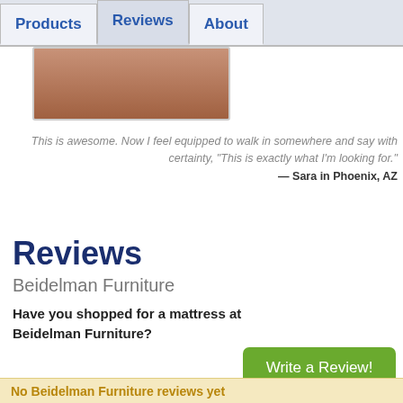Products | Reviews | About
[Figure (photo): Partial image of a person, cropped at the neck/chin level, showing skin tones]
This is awesome. Now I feel equipped to walk in somewhere and say with certainty, "This is exactly what I'm looking for." — Sara in Phoenix, AZ
Reviews
Beidelman Furniture
Have you shopped for a mattress at Beidelman Furniture?
Write a Review!
No Beidelman Furniture reviews yet